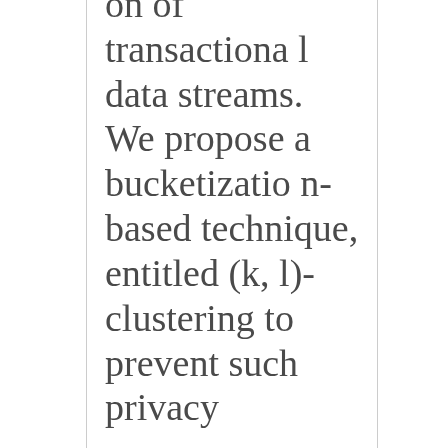on of transactional data streams. We propose a bucketization-based technique, entitled (k, l)-clustering to prevent such privacy